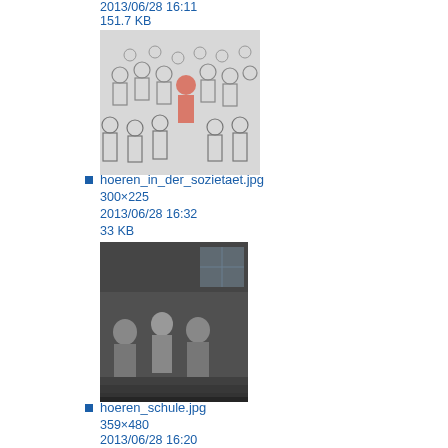2013/06/28 16:11
151.7 KB
[Figure (photo): Thumbnail of hoeren_in_der_sozietaet.jpg - illustration of a crowd of people with one highlighted in pink/red]
hoeren_in_der_sozietaet.jpg
300×225
2013/06/28 16:32
33 KB
[Figure (photo): Thumbnail of hoeren_schule.jpg - black and white photo of students in a school setting]
hoeren_schule.jpg
359×480
2013/06/28 16:20
42.9 KB
[Figure (photo): Thumbnail of hoeren_stadt.jpg - black and white photo of a city/urban scene]
hoeren_stadt.jpg